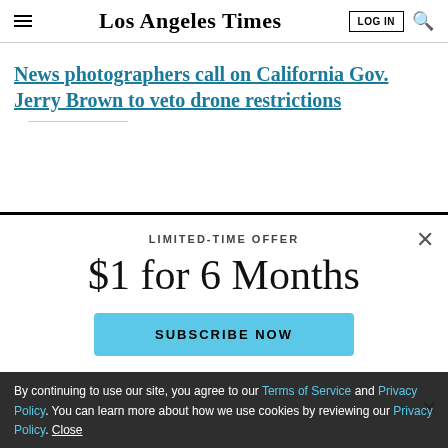Los Angeles Times
News photographers call on California Gov. Jerry Brown to veto drone restrictions
LIMITED-TIME OFFER
$1 for 6 Months
SUBSCRIBE NOW
By continuing to use our site, you agree to our Terms of Service and Privacy Policy. You can learn more about how we use cookies by reviewing our Privacy Policy. Close